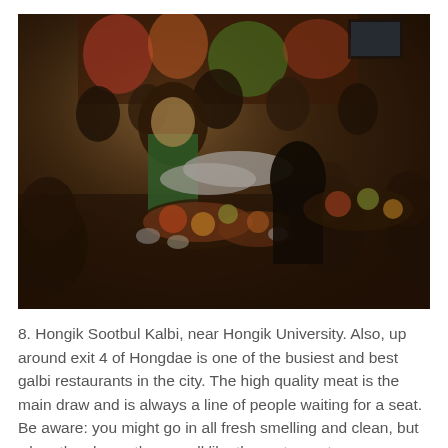[Figure (photo): A busy Korean restaurant interior showing a waitress in a green apron serving large platters of food to crowded tables of diners. The walls are decorated with colorful murals. Multiple tables are filled with people eating Korean BBQ galbi dishes.]
8. Hongik Sootbul Kalbi, near Hongik University. Also, up around exit 4 of Hongdae is one of the busiest and best galbi restaurants in the city. The high quality meat is the main draw and is always a line of people waiting for a seat. Be aware: you might go in all fresh smelling and clean, but when they leave they smell like the restaurant: greasy.